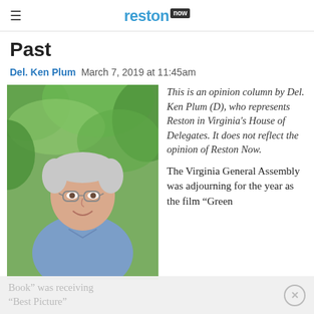reston now
Past
Del. Ken Plum  March 7, 2019 at 11:45am
[Figure (photo): Headshot of Del. Ken Plum, an older man with gray hair and glasses, wearing a blue shirt, smiling outdoors with green foliage in background]
This is an opinion column by Del. Ken Plum (D), who represents Reston in Virginia's House of Delegates. It does not reflect the opinion of Reston Now.
The Virginia General Assembly was adjourning for the year as the film “Green Book” was receiving “Best Picture”